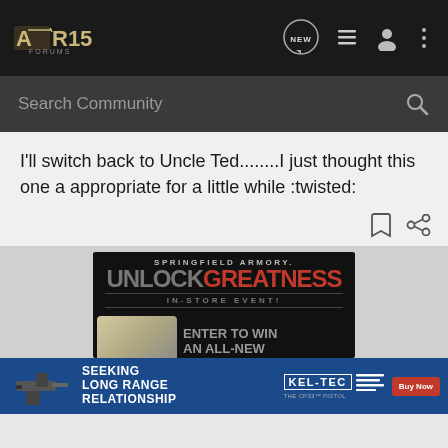AR15 Forums - Navigation header with logo, NEW chat icon, list icon, user icon, more options icon
Search Community
I'll switch back to Uncle Ted........I just thought this one a appropriate for a little while :twisted:
[Figure (screenshot): Springfield Armory advertisement: UNLOCK GREATNESS IN-STORE EVENT! ENTER TO WIN AN ALL-NEW, with image of a firearm safe/case]
[Figure (advertisement): Kel-Tec CP33 Pistol ad: SEEKING LONG RANGE RELATIONSHIP, KEL-TEC THE CP33 PISTOL, Buy Now button, blue background with pistol image]